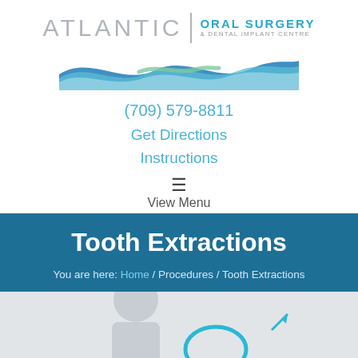[Figure (logo): Atlantic Oral Surgery & Dental Implant Centre logo with wave graphic]
(709) 579-8811
Get Directions
Instructions
View Menu
Tooth Extractions
You are here: Home / Procedures / Tooth Extractions
[Figure (photo): Partial photo of a person and dental/medical illustration at bottom of page]